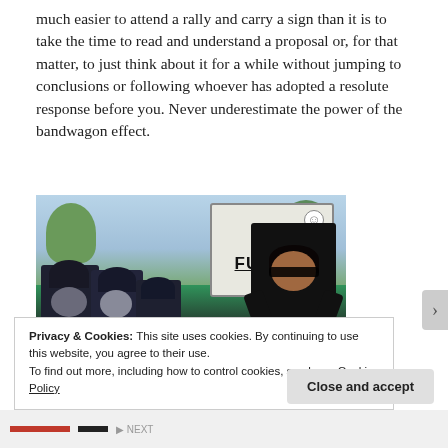much easier to attend a rally and carry a sign than it is to take the time to read and understand a proposal or, for that matter, to just think about it for a while without jumping to conclusions or following whoever has adopted a resolute response before you. Never underestimate the power of the bandwagon effect.
[Figure (photo): A protester holding a sign reading 'R.I.P. OUR FUTURE' with a smiley face, surrounded by police officers in riot gear on a street with trees in the background.]
Privacy & Cookies: This site uses cookies. By continuing to use this website, you agree to their use.
To find out more, including how to control cookies, see here: Cookie Policy
Close and accept